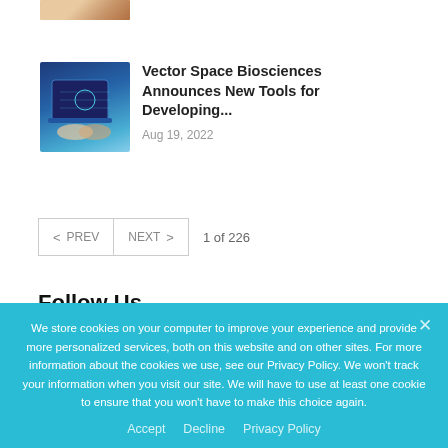[Figure (photo): Partial image of hands visible at top of page]
[Figure (photo): Thumbnail image with blue digital/tech theme showing hands and laptop]
Vector Space Biosciences Announces New Tools for Developing...
Aug 19, 2022
< PREV   NEXT >   1 of 226
Follow Us
[Figure (illustration): Social media icons: Facebook (blue circle with f), Twitter (light blue circle with bird), LinkedIn (dark blue circle with in)]
We store cookies on your computer to improve your experience and provide more personalized services, both on this website and on other sites. For more information about the cookies we use, see our Privacy Policy. We won't track your information when you visit our site. We will have to use at least one cookie to ensure that you won't have to make this choice again.
Accept   Decline   Privacy Policy